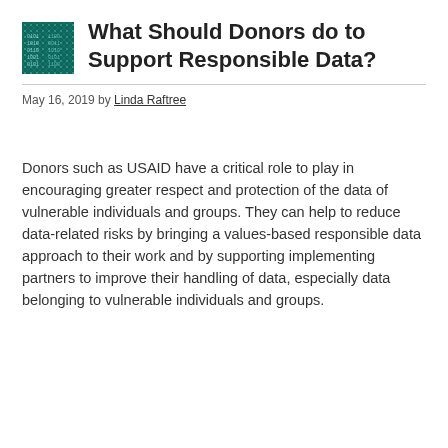What Should Donors do to Support Responsible Data?
May 16, 2019 by Linda Raftree
Donors such as USAID have a critical role to play in encouraging greater respect and protection of the data of vulnerable individuals and groups. They can help to reduce data-related risks by bringing a values-based responsible data approach to their work and by supporting implementing partners to improve their handling of data, especially data belonging to vulnerable individuals and groups.